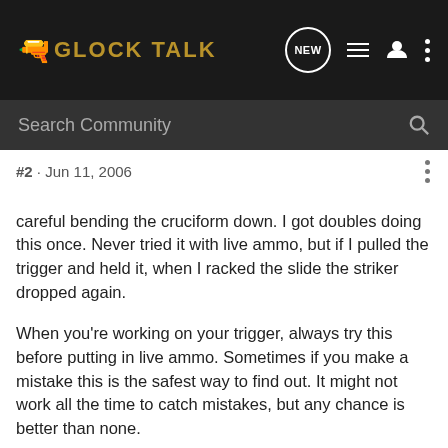GLOCK TALK
#2 · Jun 11, 2006
careful bending the cruciform down. I got doubles doing this once. Never tried it with live ammo, but if I pulled the trigger and held it, when I racked the slide the striker dropped again.

When you're working on your trigger, always try this before putting in live ammo. Sometimes if you make a mistake this is the safest way to find out. It might not work all the time to catch mistakes, but any chance is better than none.
Tim.
Match Director
Reply  Quote